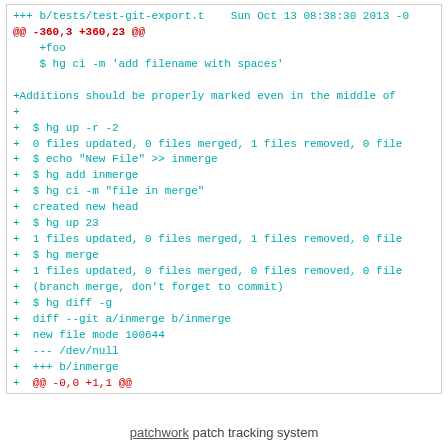[Figure (screenshot): Code diff screenshot showing git export test file changes with cyan and red colored diff lines including added lines showing hg commands and diff output]
patchwork patch tracking system